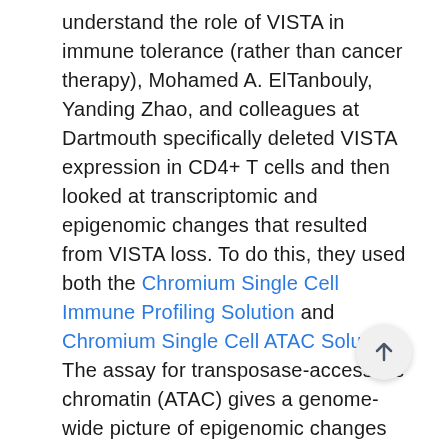understand the role of VISTA in immune tolerance (rather than cancer therapy), Mohamed A. ElTanbouly, Yanding Zhao, and colleagues at Dartmouth specifically deleted VISTA expression in CD4+ T cells and then looked at transcriptomic and epigenomic changes that resulted from VISTA loss. To do this, they used both the Chromium Single Cell Immune Profiling Solution and Chromium Single Cell ATAC Solution. The assay for transposase-accessible chromatin (ATAC) gives a genome-wide picture of epigenomic changes within the cell by identifying cut sites where a modified transposase enzyme cleaves open DNA. In regions of silent, or closed, chromatin, and where promoter elements or enhancer proteins are bound, the transposase cannot access the DNA, and no cleaved fragments are produced. ATAC, therefore, can provide a picture of a cell's current state, as well